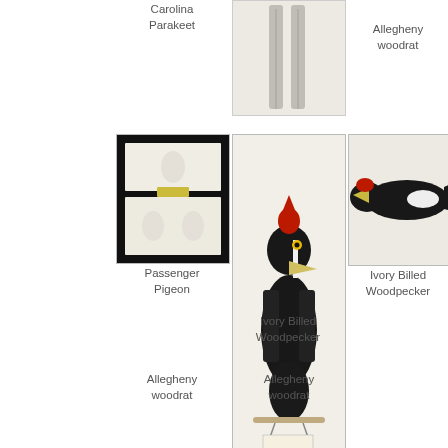[Figure (photo): Museum specimen - Carolina Parakeet (feathers on white background)]
Carolina Parakeet
[Figure (photo): Museum specimen - long feathers on white background]
Allegheny woodrat
[Figure (photo): Museum specimen eggs in box - Passenger Pigeon eggs in display case]
Passenger Pigeon
[Figure (photo): Museum specimen - Ivory Billed Woodpecker taxidermy, black bird with red head]
Ivory Billed Woodpecker
[Figure (photo): Museum specimen - Ivory Billed Woodpecker flat skin, side view, black and white bird]
Ivory Billed Woodpecker
[Figure (photo): Museum specimen - Allegheny woodrat preserved specimen with label]
Allegheny woodrat
[Figure (photo): Museum specimen - Allegheny woodrat bones or fur pieces in display cases]
Allegheny woodrat
[Figure (photo): Museum specimen - dark feathers crossed on light background]